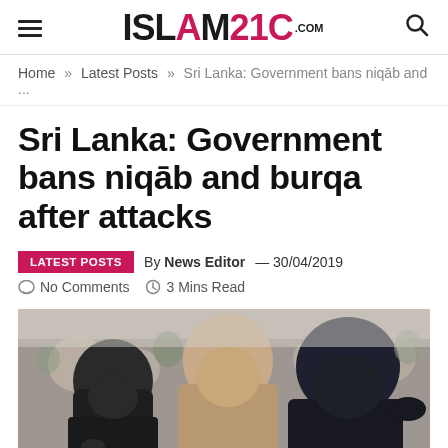ISLAM21C.COM
Home » Latest Posts » Sri Lanka: Government bans niqāb and ...
Sri Lanka: Government bans niqāb and burqa after attacks
LATEST POSTS  By News Editor — 30/04/2019  No Comments  3 Mins Read
[Figure (photo): Three women wearing niqāb and hijab seen from behind in a crowd]